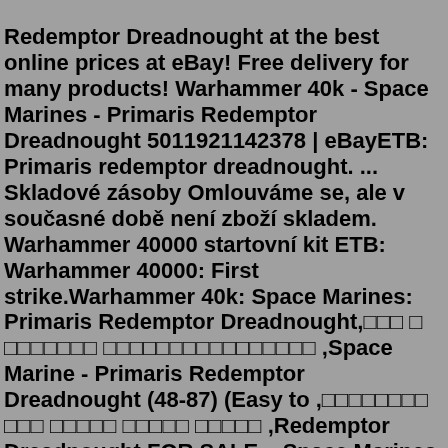Redemptor Dreadnought at the best online prices at eBay! Free delivery for many products! Warhammer 40k - Space Marines - Primaris Redemptor Dreadnought 5011921142378 | eBayETB: Primaris redemptor dreadnought. ... Skladové zásoby Omlouváme se, ale v současné době není zboží skladem. Warhammer 40000 startovní kit ETB: Warhammer 40000: First strike.Warhammer 40k: Space Marines: Primaris Redemptor Dreadnought,□□□ □ □□□□□□□ □□□□□□□□□□□□□□□□ ,Space Marine - Primaris Redemptor Dreadnought (48-87) (Easy to ,□□□□□□□□ □□□ □□□□□ □□□□□ □□□□□ ,Redemptor Dreadnought FOR SALE ...Space Marines Primaris Redemptor Dreadnought (ETB) Sold Out + Add to Cart. View this Product. Sale. Space Marines Roboute Guilliman $95.00 $105.00 Sale. Space Marines Roboute Guilliman Add 1x ($95.00) to Cart ...For me, I consider the Redemptor to be the real upscaled OG dreadnought, especially without the front armor attached so it shows the coffin. So Terminator 2.0 vs OG dreadnought, not much of a difference. T2.0 vs